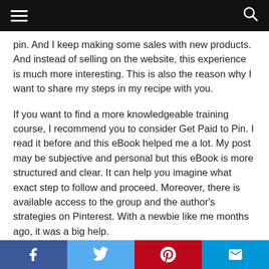[navigation bar with hamburger menu and search icon]
pin. And I keep making some sales with new products. And instead of selling on the website, this experience is much more interesting. This is also the reason why I want to share my steps in my recipe with you.
If you want to find a more knowledgeable training course, I recommend you to consider Get Paid to Pin. I read it before and this eBook helped me a lot. My post may be subjective and personal but this eBook is more structured and clear. It can help you imagine what exact step to follow and proceed. Moreover, there is available access to the group and the author’s strategies on Pinterest. With a newbie like me months ago, it was a big help.
[social share bar: Facebook, Twitter, Pinterest, Email]